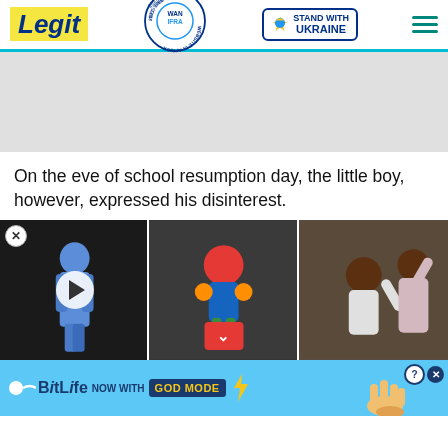Legit | 2021 Best News Website in Africa WAN IFRA | Stand With Ukraine
[Figure (screenshot): Gray advertisement placeholder area]
On the eve of school resumption day, the little boy, however, expressed his disinterest.
[Figure (photo): Three-panel image strip: left panel shows a child in blue clothes with play button overlay and close X, middle panel shows a colorful toy figure with a red chevron-down overlay, right panel shows a mother and excited child]
[Figure (infographic): BitLife advertisement banner: NOW WITH GOD MODE, blue background with cartoon hand and sperm icon]